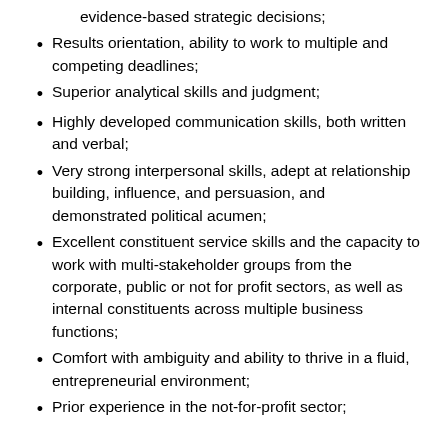evidence-based strategic decisions;
Results orientation, ability to work to multiple and competing deadlines;
Superior analytical skills and judgment;
Highly developed communication skills, both written and verbal;
Very strong interpersonal skills, adept at relationship building, influence, and persuasion, and demonstrated political acumen;
Excellent constituent service skills and the capacity to work with multi-stakeholder groups from the corporate, public or not for profit sectors, as well as internal constituents across multiple business functions;
Comfort with ambiguity and ability to thrive in a fluid, entrepreneurial environment;
Prior experience in the not-for-profit sector;